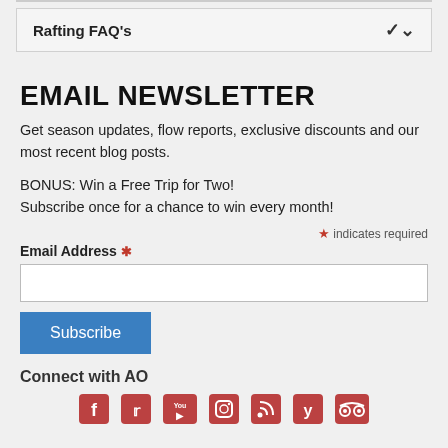Rafting FAQ's
EMAIL NEWSLETTER
Get season updates, flow reports, exclusive discounts and our most recent blog posts.
BONUS: Win a Free Trip for Two!
Subscribe once for a chance to win every month!
* indicates required
Email Address *
Subscribe
Connect with AO
[Figure (other): Row of social media icons: Facebook, Twitter, YouTube, Instagram, RSS feed, Yelp, TripAdvisor]